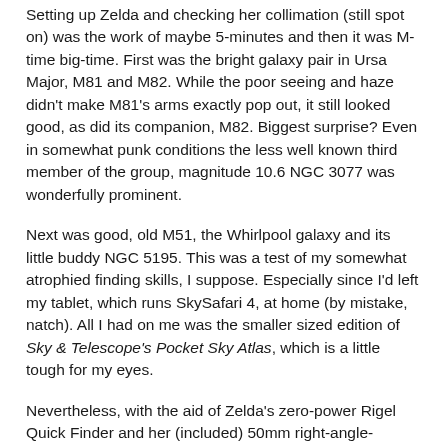Setting up Zelda and checking her collimation (still spot on) was the work of maybe 5-minutes and then it was M-time big-time. First was the bright galaxy pair in Ursa Major, M81 and M82. While the poor seeing and haze didn't make M81's arms exactly pop out, it still looked good, as did its companion, M82. Biggest surprise? Even in somewhat punk conditions the less well known third member of the group, magnitude 10.6 NGC 3077 was wonderfully prominent.
Next was good, old M51, the Whirlpool galaxy and its little buddy NGC 5195. This was a test of my somewhat atrophied finding skills, I suppose. Especially since I'd left my tablet, which runs SkySafari 4, at home (by mistake, natch). All I had on me was the smaller sized edition of Sky & Telescope's Pocket Sky Atlas, which is a little tough for my eyes.
Nevertheless, with the aid of Zelda's zero-power Rigel Quick Finder and her (included) 50mm right-angle-correct-image finder, I soon found I had nothing to dread. With SkySafari it would have been even easier to get the Whirlpool in the eyepiece, but I must admit that for visual it's nice to forget